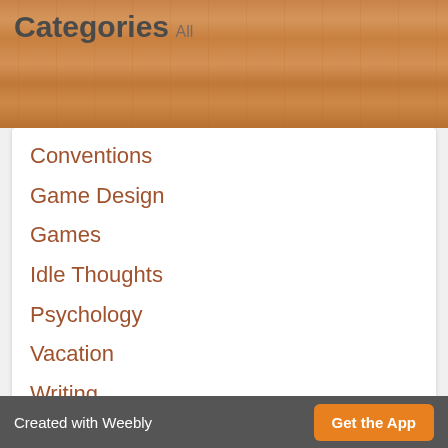Categories
All
Conventions
Game Design
Games
Idle Thoughts
Psychology
Vacation
Writing
Writing Release
RSS Feed
Version:  Mobile | Web
Created with Weebly  Get the App